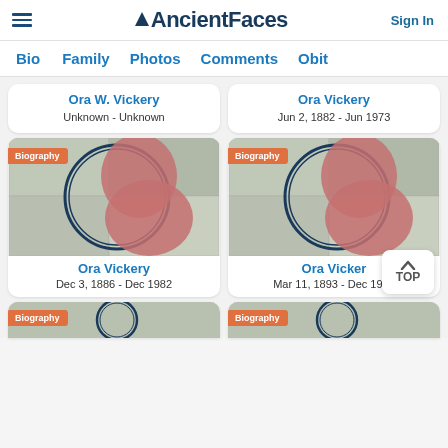AncientFaces
Sign In
Bio  Family  Photos  Comments  Obit
Ora W. Vickery
Unknown - Unknown
Ora Vickery
Jun 2, 1882 - Jun 1973
[Figure (illustration): Biography card with circular collage silhouette for Ora Vickery, Biography badge in orange]
Ora Vickery
Dec 3, 1886 - Dec 1982
[Figure (illustration): Biography card with circular collage silhouette for Ora Vickery, Biography badge in orange]
Ora Vicker
Mar 11, 1893 - Dec 1963
[Figure (illustration): Partial biography card at bottom left, Biography badge in orange]
[Figure (illustration): Partial biography card at bottom right, Biography badge in orange]